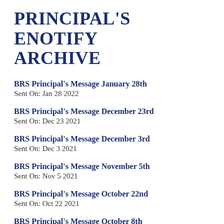PRINCIPAL'S ENOTIFY ARCHIVE
BRS Principal's Message January 28th
Sent On: Jan 28 2022
BRS Principal's Message December 23rd
Sent On: Dec 23 2021
BRS Principal's Message December 3rd
Sent On: Dec 3 2021
BRS Principal's Message November 5th
Sent On: Nov 5 2021
BRS Principal's Message October 22nd
Sent On: Oct 22 2021
BRS Principal's Message October 8th